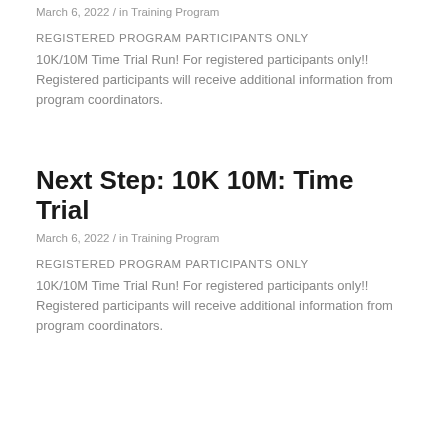March 6, 2022 / in Training Program
REGISTERED PROGRAM PARTICIPANTS ONLY
10K/10M Time Trial Run! For registered participants only!! Registered participants will receive additional information from program coordinators.
Next Step: 10K 10M: Time Trial
March 6, 2022 / in Training Program
REGISTERED PROGRAM PARTICIPANTS ONLY
10K/10M Time Trial Run! For registered participants only!! Registered participants will receive additional information from program coordinators.